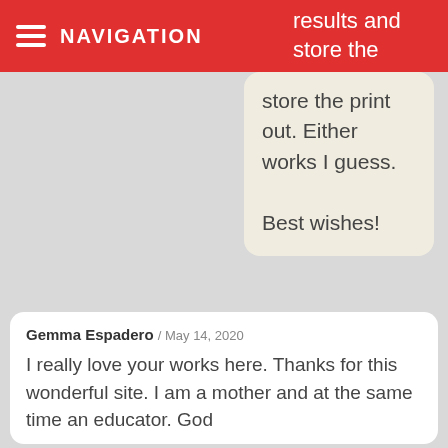NAVIGATION
results and store the print out. Either works I guess.

Best wishes!
Gemma Espadero / May 14, 2020
I really love your works here. Thanks for this wonderful site. I am a mother and at the same time an educator. God